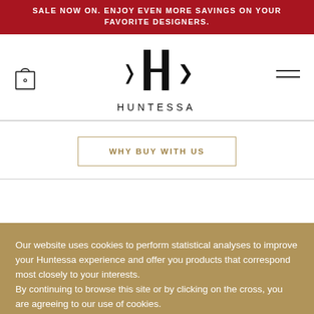SALE NOW ON. ENJOY EVEN MORE SAVINGS ON YOUR FAVORITE DESIGNERS.
[Figure (logo): Huntessa brand logo — stylized H with arrows, and wordmark HUNTESSA below]
WHY BUY WITH US
Our website uses cookies to perform statistical analyses to improve your Huntessa experience and offer you products that correspond most closely to your interests.
By continuing to browse this site or by clicking on the cross, you are agreeing to our use of cookies.
READ MORE
ACCEPT COOKIES